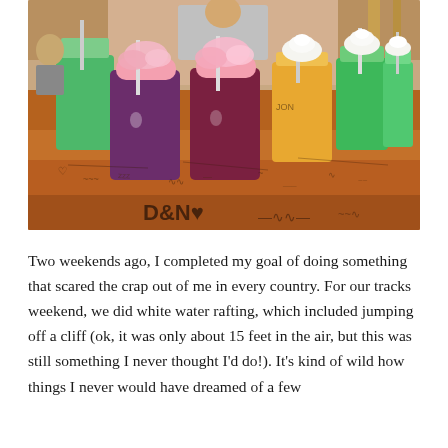[Figure (photo): Photo of colorful drinks (purple, green, orange/amber) topped with cotton candy and whipped cream, arranged on a graffiti-covered wooden table. People visible in the background at what appears to be a casual restaurant or bar.]
Two weekends ago, I completed my goal of doing something that scared the crap out of me in every country. For our tracks weekend, we did white water rafting, which included jumping off a cliff (ok, it was only about 15 feet in the air, but this was still something I never thought I'd do!). It's kind of wild how things I never would have dreamed of a few